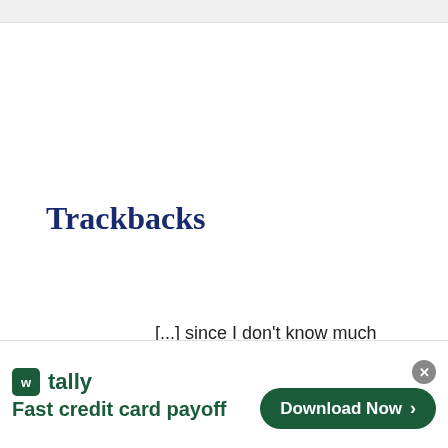Trackbacks
[...] since I don't know much about how it works, here's how one of my friends suggests you weed out the broke-asses that litter the […]
[Figure (other): Advertisement banner for Tally app — 'Fast credit card payoff' with a green Download Now button]